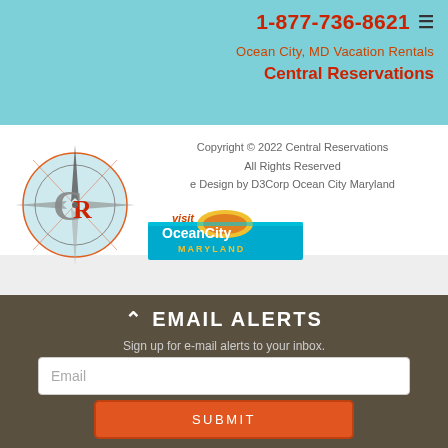1-877-736-8621 | Ocean City, MD Vacation Rentals | Central Reservations
[Figure (logo): Central Reservations compass logo with stylized C and R letters inside a circular design with compass needle decorations]
Copyright © 2022 Central Reservations
All Rights Reserved
e Design by D3Corp Ocean City Maryland
[Figure (logo): Visit Ocean City Maryland logo with colorful sunset/beach imagery]
EMAIL ALERTS
Sign up for e-mail alerts to your inbox.
Email
SUBMIT